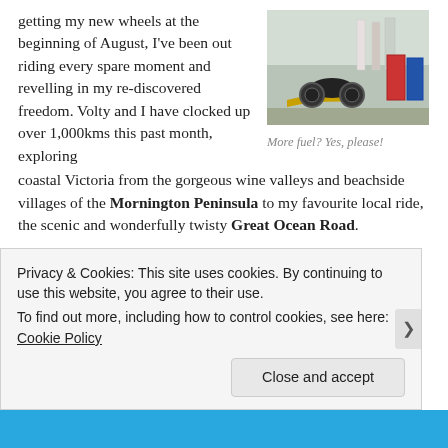getting my new wheels at the beginning of August, I've been out riding every spare moment and revelling in my re-discovered freedom. Volty and I have clocked up over 1,000kms this past month, exploring coastal Victoria from the gorgeous wine valleys and beachside villages of the Mornington Peninsula to my favourite local ride, the scenic and wonderfully twisty Great Ocean Road.
[Figure (photo): A motorcycle parked at a petrol station with fuel bowsers in the background]
More fuel? Yes, please!
The quality of...
Privacy & Cookies: This site uses cookies. By continuing to use this website, you agree to their use.
To find out more, including how to control cookies, see here: Cookie Policy